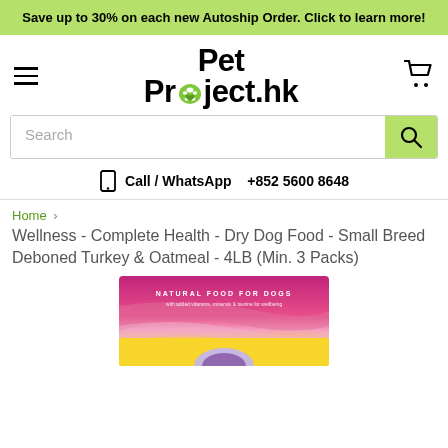Save up to 30% on each new Autoship Order. Click to learn more!
[Figure (logo): PetProject.hk logo with green paw print replacing the 'o' in Project]
Call / WhatsApp  +852 5600 8648
Home › Wellness - Complete Health - Dry Dog Food - Small Breed Deboned Turkey & Oatmeal - 4LB (Min. 3 Packs)
Wellness - Complete Health - Dry Dog Food - Small Breed Deboned Turkey & Oatmeal - 4LB (Min. 3 Packs)
[Figure (photo): Partial view of a Wellness dog food bag with pink and yellow packaging, text reading NATURAL FOOD FOR DOGS with added vitamins, minerals & taurine for wellbeing]